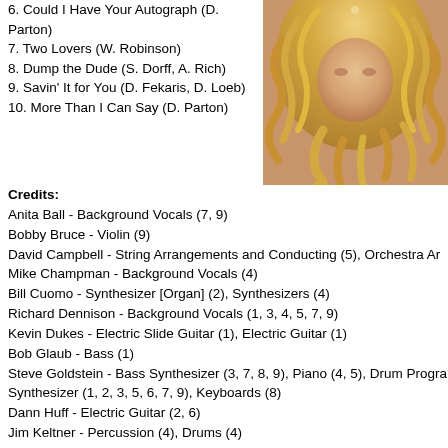6. Could I Have Your Autograph (D. Parton)
7. Two Lovers (W. Robinson)
8. Dump the Dude (S. Dorff, A. Rich)
9. Savin' It for You (D. Fekaris, D. Loeb)
10. More Than I Can Say (D. Parton)
[Figure (photo): Photo of a woman with curly blonde hair, cropped to show hair and partial face]
Credits:
Anita Ball - Background Vocals (7, 9)
Bobby Bruce - Violin (9)
David Campbell - String Arrangements and Conducting (5), Orchestra Ar
Mike Champman - Background Vocals (4)
Bill Cuomo - Synthesizer [Organ] (2), Synthesizers (4)
Richard Dennison - Background Vocals (1, 3, 4, 5, 7, 9)
Kevin Dukes - Electric Slide Guitar (1), Electric Guitar (1)
Bob Glaub - Bass (1)
Steve Goldstein - Bass Synthesizer (3, 7, 8, 9), Piano (4, 5), Drum Progra
Synthesizer (1, 2, 3, 5, 6, 7, 9), Keyboards (8)
Dann Huff - Electric Guitar (2, 6)
Jim Keltner - Percussion (4), Drums (4)
Danny Kortchmar - 12 String Acoustic Guitar (4)
Craig Krampf - Drum Programming (2, 3, 5, 6, 7, 8), Drum Overdubs
Abraham Laboriel - Bass (6)
Michael Landau - Electric Guitar (8)
Patricia Mabee - Harpsichord (10)
Robert O'Hearn - Synthesizer (3)
Sid Page - Concertmaster (10)
Dolly Parton - Vocals (1 - 10), Harmony Vocals (1, 7, 9), Background Voc
Al Perkins - Midi Steel Guitar (3, 6), Midi Pedal Steel Guitar (5, 7, 9)
Smokey Robinson - Duet Vocals (2)
Tom Scott - Saxophone (7, 8)
Leland Sklar - Bass (2, 4, 5)